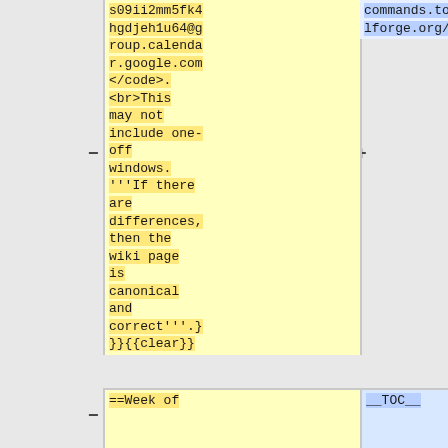s09ii2mm5fk4hgdjeh1u64@group.calendar.google.com</code>.<br>This may not include one-off windows. '''If there are differences, then the wiki page is canonical and correct'''.}}
{{clear}}
commands.toolforge.org/
==Week of
__TOC__